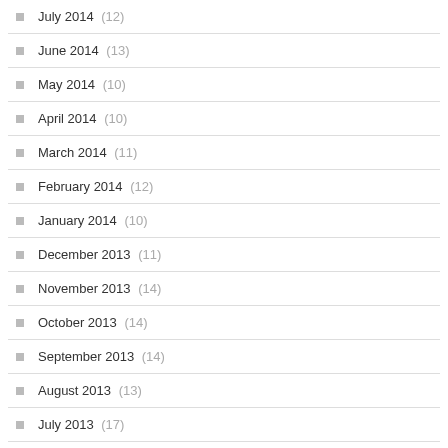July 2014 (12)
June 2014 (13)
May 2014 (10)
April 2014 (10)
March 2014 (11)
February 2014 (12)
January 2014 (10)
December 2013 (11)
November 2013 (14)
October 2013 (14)
September 2013 (14)
August 2013 (13)
July 2013 (17)
June 2013 (9)
May 2013 (13)